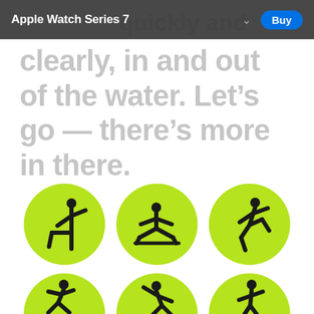Apple Watch Series 7
clearly, in and out of the water. Let’s go — there’s more in there.
[Figure (illustration): Six green circular icons with black stick-figure pictograms representing various workout/fitness activities: yoga/balance pose, stretching/floor exercise, running, cycling/crouching, bending/stretching, and walking. A second row of three partially visible green circles at the bottom with more fitness icons.]